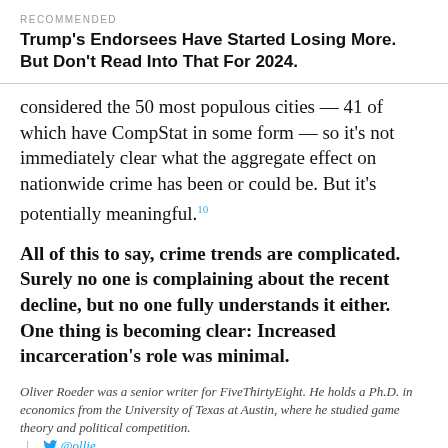RECOMMENDED
Trump's Endorsees Have Started Losing More. But Don't Read Into That For 2024.
considered the 50 most populous cities — 41 of which have CompStat in some form — so it's not immediately clear what the aggregate effect on nationwide crime has been or could be. But it's potentially meaningful.10
All of this to say, crime trends are complicated. Surely no one is complaining about the recent decline, but no one fully understands it either. One thing is becoming clear: Increased incarceration's role was minimal.
Oliver Roeder was a senior writer for FiveThirtyEight. He holds a Ph.D. in economics from the University of Texas at Austin, where he studied game theory and political competition. @ollie